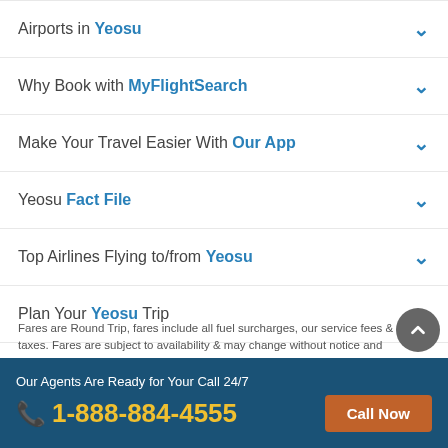Airports in Yeosu
Why Book with MyFlightSearch
Make Your Travel Easier With Our App
Yeosu Fact File
Top Airlines Flying to/from Yeosu
Plan Your Yeosu Trip
Fares are Round Trip, fares include all fuel surcharges, our service fees & taxes. Fares are subject to availability & may change without notice and
Our Agents Are Ready for Your Call 24/7 1-888-884-4555 Call Now